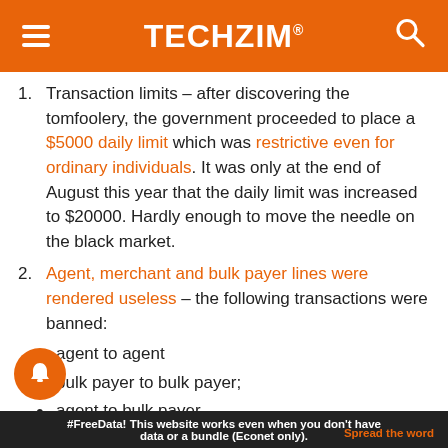TECHZiM
Transaction limits – after discovering the tomfoolery, the government proceeded to place a $5000 daily limit which was restrictive even for ordinary individuals. It was only at the end of August this year that the daily limit was increased to $20000. Hardly enough to move the needle on the black market.
Agent, merchant and bulk payer lines were rendered useless – the following transactions were banned:
agent to agent
bulk payer to bulk payer;
agent to bulk payer
bulk payer to agent
#FreeData! This website works even when you don't have data or a bundle (Econet only). Spread the word